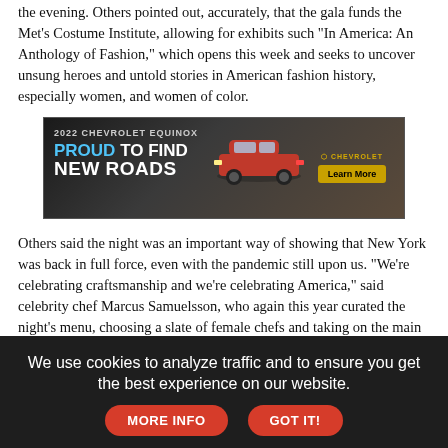the evening. Others pointed out, accurately, that the gala funds the Met's Costume Institute, allowing for exhibits such "In America: An Anthology of Fashion," which opens this week and seeks to uncover unsung heroes and untold stories in American fashion history, especially women, and women of color.
[Figure (photo): Chevrolet Equinox advertisement banner: '2022 CHEVROLET EQUINOX - PROUD TO FIND NEW ROADS' with image of red SUV and 'Learn More' button]
Others said the night was an important way of showing that New York was back in full force, even with the pandemic still upon us. "We're celebrating craftsmanship and we're celebrating America," said celebrity chef Marcus Samuelsson, who again this year curated the night's menu, choosing a slate of female chefs and taking on the main course himself — a barbecue-style beef, he said, with corn and succotash. "We're showing that New York is back."
[Figure (photo): Chevrolet Equinox advertisement banner (partial): '2022 CHEVROLET EQUINOX - PROUD TO FIND...' with forest background]
We use cookies to analyze traffic and to ensure you get the best experience on our website.